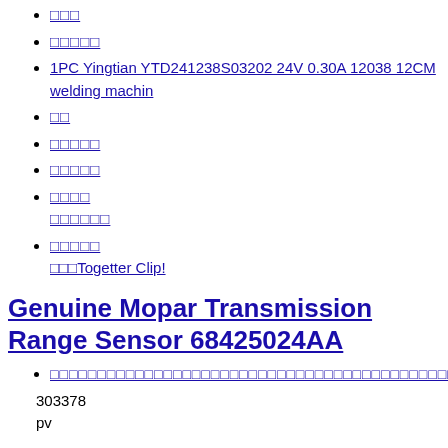□□□
□□□□□
1PC Yingtian YTD241238S03202 24V 0.30A 12038 12CM welding machin
□□
□□□□□
□□□□□
□□□□
□□□□□□
□□□□□
□□□Togetter Clip!
Genuine Mopar Transmission Range Sensor 68425024AA
□□□□□□□□□□□□□□□□□□□□□□□□□□□□□□□□□□□□□□□□□□□□□
303378
pv
[Figure (logo): Twitter bird logo in black silhouette]